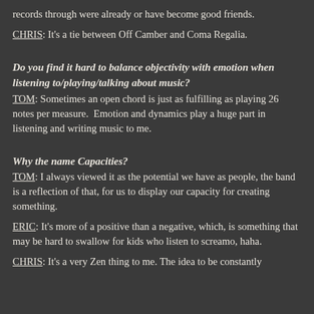records through were already or have become good friends.
CHRIS: It's a tie between Off Camber and Coma Regalia.
Do you find it hard to balance objectivity with emotion when listening to/playing/talking about music?
TOM: Sometimes an open chord is just as fulfilling as playing 26 notes per measure.  Emotion and dynamics play a huge part in listening and writing music to me.
Why the name Capacities?
TOM: I always viewed it as the potential we have as people, the band is a reflection of that, for us to display our capacity for creating something.
ERIC: It's more of a positive than a negative, which, is something that may be hard to swallow for kids who listen to screamo, haha.
CHRIS: It's a very Zen thing to me. The idea to be constantly pushing yourself...